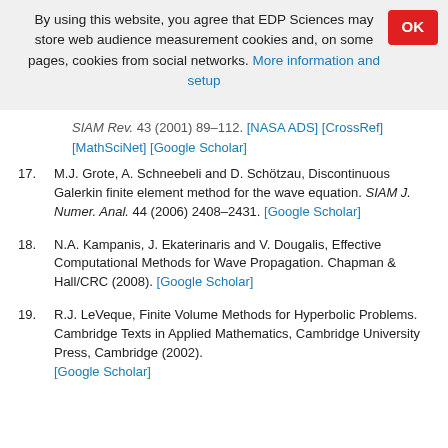By using this website, you agree that EDP Sciences may store web audience measurement cookies and, on some pages, cookies from social networks. More information and setup
SIAM Rev. 43 (2001) 89–112. [NASA ADS] [CrossRef] [MathSciNet] [Google Scholar]
17. M.J. Grote, A. Schneebeli and D. Schötzau, Discontinuous Galerkin finite element method for the wave equation. SIAM J. Numer. Anal. 44 (2006) 2408–2431. [Google Scholar]
18. N.A. Kampanis, J. Ekaterinaris and V. Dougalis, Effective Computational Methods for Wave Propagation. Chapman & Hall/CRC (2008). [Google Scholar]
19. R.J. LeVeque, Finite Volume Methods for Hyperbolic Problems. Cambridge Texts in Applied Mathematics, Cambridge University Press, Cambridge (2002). [Google Scholar]